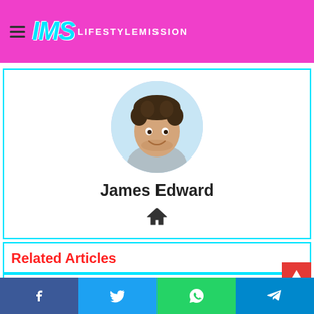IMS LIFESTYLEMISSION
[Figure (photo): Circular avatar photo of a smiling young man with curly dark hair wearing a light grey shirt]
James Edward
[Figure (other): Home icon symbol]
Related Articles
[Figure (photo): Partial thumbnail images of related articles]
Facebook, Twitter, WhatsApp, Telegram social share buttons